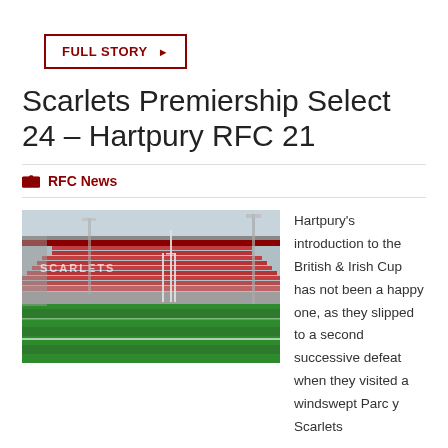FULL STORY ▶
Scarlets Premiership Select 24 – Hartpury RFC 21
RFC News
[Figure (photo): Rugby stadium interior — Parc y Scarlets — showing green pitch, red seats in stands, and floodlight pylons under overcast sky]
Hartpury's introduction to the British & Irish Cup has not been a happy one, as they slipped to a second successive defeat when they visited a windswept Parc y Scarlets on Saturday. This was a game that was high on endeavour but low on